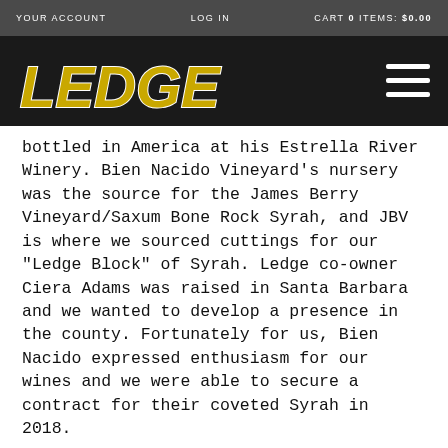YOUR ACCOUNT   LOG IN   CART 0 ITEMS: $0.00
[Figure (logo): LEDGE winery logo in bold italic gold/yellow text on black background with hamburger menu icon]
bottled in America at his Estrella River Winery. Bien Nacido Vineyard's nursery was the source for the James Berry Vineyard/Saxum Bone Rock Syrah, and JBV is where we sourced cuttings for our "Ledge Block" of Syrah. Ledge co-owner Ciera Adams was raised in Santa Barbara and we wanted to develop a presence in the county. Fortunately for us, Bien Nacido expressed enthusiasm for our wines and we were able to secure a contract for their coveted Syrah in 2018.
Harvested and fermented wild from 10/31/19 to 11/20/19 in a stainless steel tank. The fruit was completely destemmed with 35 percent